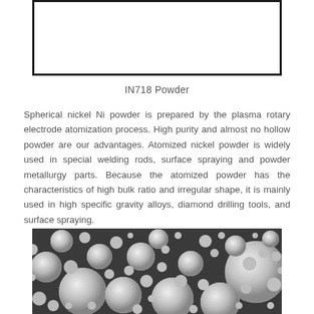[Figure (other): White empty box with thick black border, representing a placeholder image or diagram area for IN718 Powder]
IN718 Powder
Spherical nickel Ni powder is prepared by the plasma rotary electrode atomization process. High purity and almost no hollow powder are our advantages. Atomized nickel powder is widely used in special welding rods, surface spraying and powder metallurgy parts. Because the atomized powder has the characteristics of high bulk ratio and irregular shape, it is mainly used in high specific gravity alloys, diamond drilling tools, and surface spraying.
[Figure (photo): Scanning electron microscope (SEM) image of spherical nickel powder particles of various sizes against a dark background, showing the spherical morphology of the IN718 powder.]